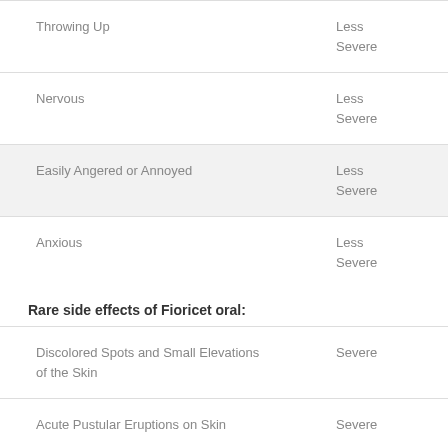| Symptom | Severity |
| --- | --- |
| Throwing Up | Less Severe |
| Nervous | Less Severe |
| Easily Angered or Annoyed | Less Severe |
| Anxious | Less Severe |
Rare side effects of Fioricet oral:
| Symptom | Severity |
| --- | --- |
| Discolored Spots and Small Elevations of the Skin | Severe |
| Acute Pustular Eruptions on Skin | Severe |